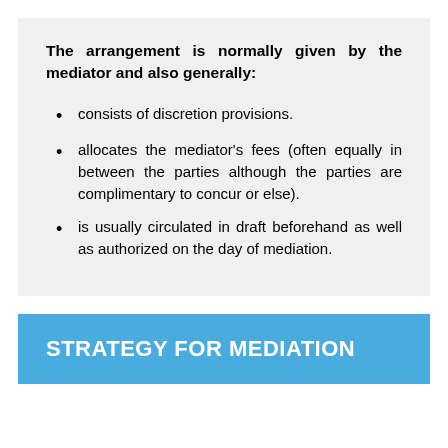The arrangement is normally given by the mediator and also generally:
consists of discretion provisions.
allocates the mediator's fees (often equally in between the parties although the parties are complimentary to concur or else).
is usually circulated in draft beforehand as well as authorized on the day of mediation.
STRATEGY FOR MEDIATION